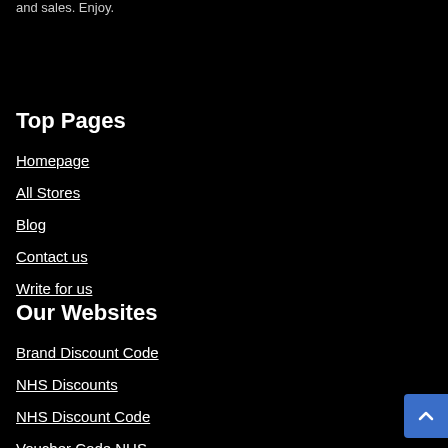and sales. Enjoy.
Top Pages
Homepage
All Stores
Blog
Contact us
Write for us
Our Websites
Brand Discount Code
NHS Discounts
NHS Discount Code
Voucher Code NHS